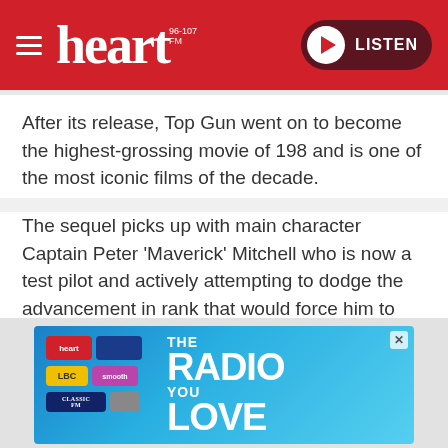heart 96-107 FM — LISTEN
After its release, Top Gun went on to become the highest-grossing movie of 198 and is one of the most iconic films of the decade.
The sequel picks up with main character Captain Peter 'Maverick' Mitchell who is now a test pilot and actively attempting to dodge the advancement in rank that would force him to stop flying.
[Figure (advertisement): Heart Radio advertisement banner showing mobile app screen tiles (Heart, LBC, Classic FM, etc.) with text 'THE RADIO YOU LOVE' on a blue gradient background.]